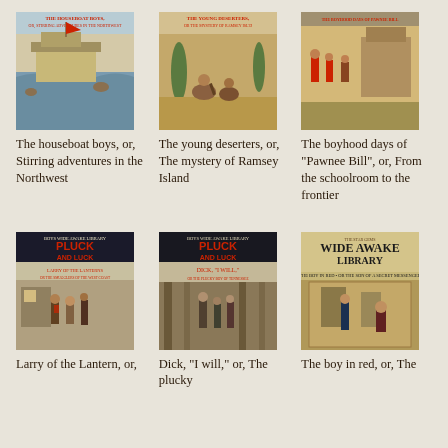[Figure (illustration): Cover of 'The Houseboat Boys' dime novel showing boys on a houseboat in a river scene, red title text at top]
The houseboat boys, or, Stirring adventures in the Northwest
[Figure (illustration): Cover of 'The Young Deserters' dime novel showing a battle/desert scene with figures, red title text at top]
The young deserters, or, The mystery of Ramsey Island
[Figure (illustration): Cover of 'The Boyhood Days of Pawnee Bill' dime novel showing frontier battle scene with figures in red coats]
The boyhood days of "Pawnee Bill", or, From the schoolroom to the frontier
[Figure (illustration): Cover of Pluck and Luck dime novel 'Larry of the Lantern' showing smugglers on West Coast, red bold title]
Larry of the Lantern, or,
[Figure (illustration): Cover of Pluck and Luck dime novel 'Dick I Will' showing plucky hero scene, red bold title]
Dick, "I will," or, The plucky
[Figure (illustration): Cover of Wide Awake Library 'The Boy in Red' showing interior scene with figures, yellow/sepia tones]
The boy in red, or, The